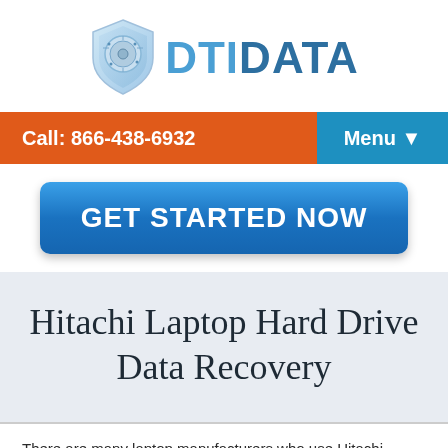[Figure (logo): DTI DATA logo with shield icon containing a hard drive graphic and blue text reading DTIDATA]
Call: 866-438-6932  Menu ▼
GET STARTED NOW
Hitachi Laptop Hard Drive Data Recovery
There are many laptop manufacturers who use Hitachi laptop hard disk drives. You can find them in Dell and Sony's to name